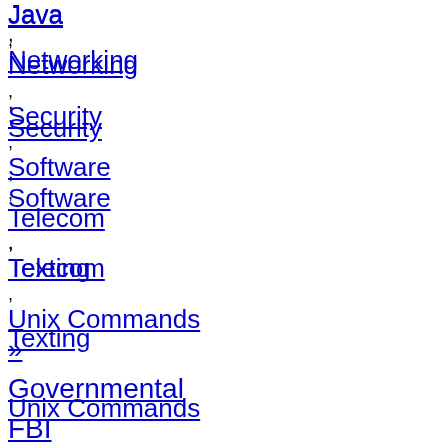Java
, Networking
, Security
, Software
, Telecom
, Texting
, Unix Commands
»
Governmental
FBI
, FDA
, Military
, NASA
, Police